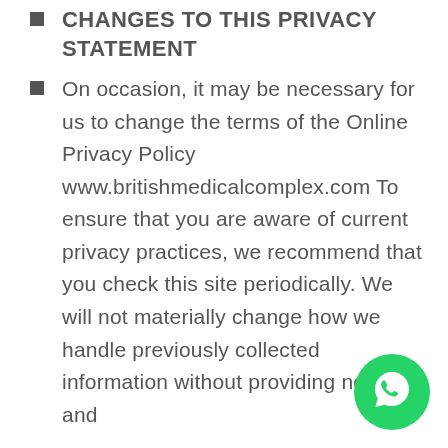CHANGES TO THIS PRIVACY STATEMENT
On occasion, it may be necessary for us to change the terms of the Online Privacy Policy www.britishmedicalcomplex.com To ensure that you are aware of current privacy practices, we recommend that you check this site periodically. We will not materially change how we handle previously collected information without providing notice and
[Figure (logo): WhatsApp chat button icon — green circle with white WhatsApp phone/speech bubble logo]